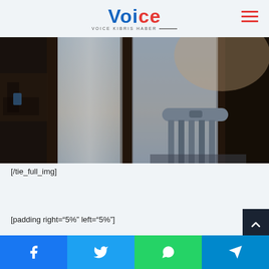VOICE KIBRIS HABER
[Figure (photo): A wooden chair in front of large windows with sheer curtains, dark wooden frames, warm sunset light visible through the glass, moody interior scene]
[/tie_full_img]
[padding right="5%" left="5%"]